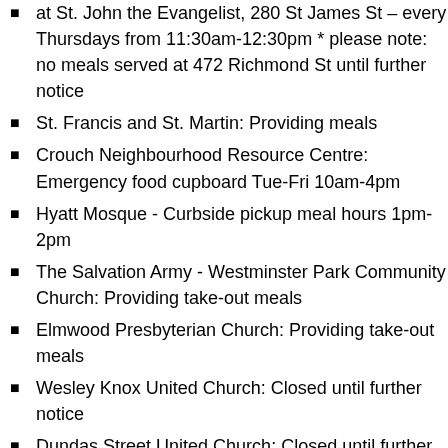at St. John the Evangelist, 280 St James St – every Thursdays from 11:30am-12:30pm * please note: no meals served at 472 Richmond St until further notice
St. Francis and St. Martin: Providing meals
Crouch Neighbourhood Resource Centre: Emergency food cupboard Tue-Fri 10am-4pm
Hyatt Mosque - Curbside pickup meal hours 1pm-2pm
The Salvation Army - Westminster Park Community Church: Providing take-out meals
Elmwood Presbyterian Church: Providing take-out meals
Wesley Knox United Church: Closed until further notice
Dundas Street United Church: Closed until further notice
Chalmers Presbyterian Church (food bank): Open Wednesday for food pick-up between 12:30pm-1:30pm (no longer open Tuesdays). Clients may come once a month and are still being asked to call 519-681-7242 on Mondays to register
South London Neighbourhood Resource Centre: As of May 3rd the St. Justins location will be closed as they are moving back to SLNRC. SLNRC will switch from being an emergency food cupboard to a neighbourhood foodbank *